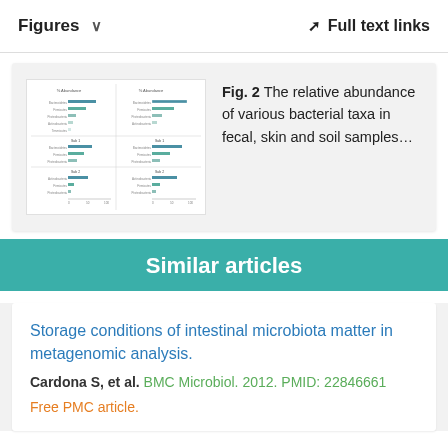Figures  ∨    Full text links
[Figure (other): Thumbnail of Fig. 2 showing horizontal bar charts of relative abundance of bacterial taxa in fecal, skin and soil samples]
Fig. 2 The relative abundance of various bacterial taxa in fecal, skin and soil samples…
Similar articles
Storage conditions of intestinal microbiota matter in metagenomic analysis.
Cardona S, et al. BMC Microbiol. 2012. PMID: 22846661
Free PMC article.